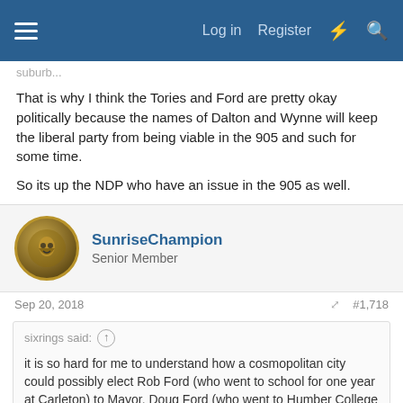Log in   Register
suburb...
That is why I think the Tories and Ford are pretty okay politically because the names of Dalton and Wynne will keep the liberal party from being viable in the 905 and such for some time.

So its up the NDP who have an issue in the 905 as well.
SunriseChampion
Senior Member
Sep 20, 2018   #1,718
sixrings said:
it is so hard for me to understand how a cosmopolitan city could possibly elect Rob Ford (who went to school for one year at Carleton) to Mayor, Doug Ford (who went to Humber College for who knows how long???) to Premier and then possibly Michael Ford (who went to no secondary schooling) as Mayor.